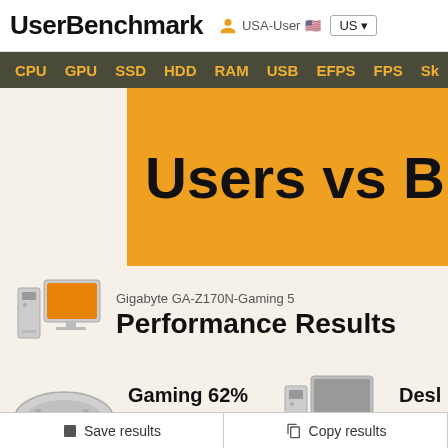UserBenchmark  USA-User  US
CPU  GPU  SSD  HDD  RAM  USB  EFPS  FPS  Sk
Users vs Brands
Gigabyte GA-Z170N-Gaming 5
Performance Results
Gaming 62%
Destroyer
Desk
Nucle
Save results  Copy results